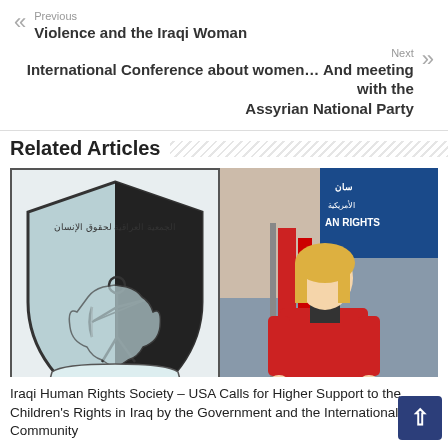Previous
Violence and the Iraqi Woman
Next
International Conference about women… And meeting with the Assyrian National Party
Related Articles
[Figure (photo): Left: Iraqi Human Rights Society USA logo (shield shaped, black and light blue with an archer figure, Arabic text and 'IRAQI HUMAN RIGHTS SOCIETY USA'). Right: A blonde woman in a red blazer standing in front of American and Iraqi flags, with a blue sign reading 'AN RIGHTS' visible in the background.]
Iraqi Human Rights Society – USA Calls for Higher Support to the Children's Rights in Iraq by the Government and the International Community